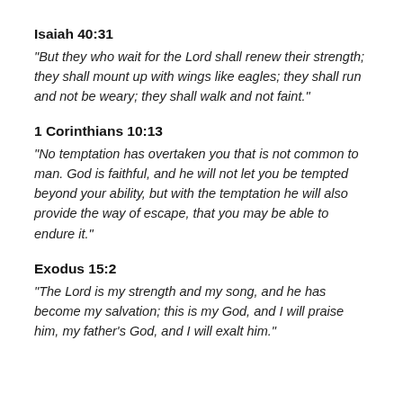Isaiah 40:31
“But they who wait for the Lord shall renew their strength; they shall mount up with wings like eagles; they shall run and not be weary; they shall walk and not faint.”
1 Corinthians 10:13
“No temptation has overtaken you that is not common to man. God is faithful, and he will not let you be tempted beyond your ability, but with the temptation he will also provide the way of escape, that you may be able to endure it.”
Exodus 15:2
“The Lord is my strength and my song, and he has become my salvation; this is my God, and I will praise him, my father’s God, and I will exalt him.”